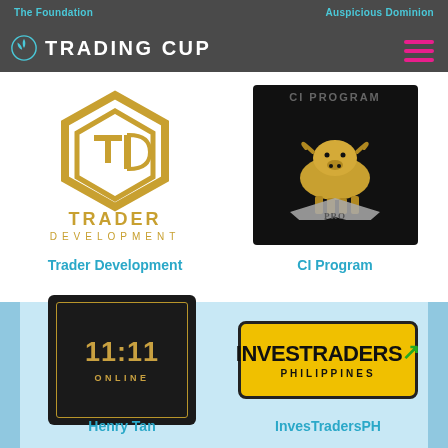The Foundation | Auspicious Dominion | TRADING CUP
[Figure (logo): Trader Development logo - gold hexagonal geometric shape with T D letters, gold text TRADER DEVELOPMENT below]
Trader Development
[Figure (logo): CI Program logo - black background with gold bull statue, CI PROGRAM text, PRO text on silver chevron shape]
CI Program
[Figure (logo): 11:11 ONLINE logo - dark box with gold border showing 11:11 ONLINE text]
Henry Tan
[Figure (logo): InvesTradors Philippines logo - yellow background with black text INVESTRADERS and green arrow, PHILIPPINES below]
InvesTradersPH